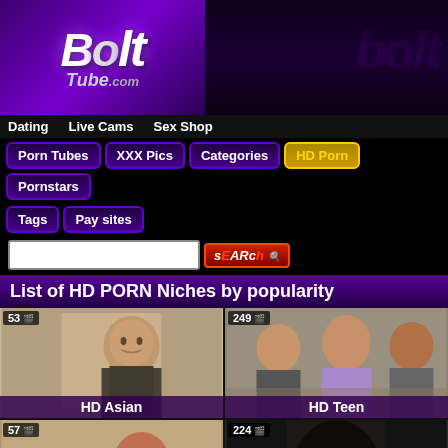[Figure (logo): BoltTube.com website logo with purple gradient background and stylized text]
Dating   Live Cams   Sex Shop
Porn Tubes  XXX Pics  Categories  HD Porn  Pornstars  Tags  Pay sites
SEARCH (search bar and button)
List of HD PORN Niches by popularity
[Figure (screenshot): HD Asian thumbnail with count badge 53]
[Figure (screenshot): HD Teen thumbnail with count badge 249]
[Figure (screenshot): Thumbnail with count badge 57]
[Figure (screenshot): Thumbnail with count badge 224]